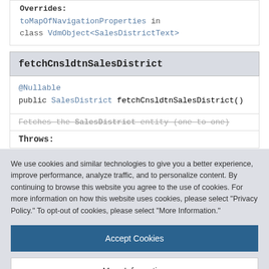Overrides: toMapOfNavigationProperties in class VdmObject<SalesDistrictText>
fetchCnsldtnSalesDistrict
@Nullable
public SalesDistrict fetchCnsldtnSalesDistrict()
Fetches the SalesDistrict entity (one to one)
We use cookies and similar technologies to give you a better experience, improve performance, analyze traffic, and to personalize content. By continuing to browse this website you agree to the use of cookies. For more information on how this website uses cookies, please select "Privacy Policy." To opt-out of cookies, please select "More Information."
Accept Cookies
More Information
Privacy Policy | Powered by: TrustArc
Throws: